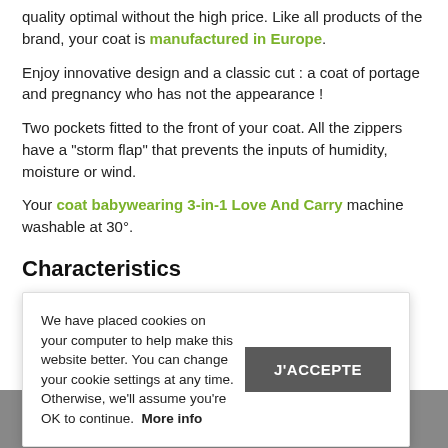quality optimal without the high price. Like all products of the brand, your coat is manufactured in Europe.
Enjoy innovative design and a classic cut : a coat of portage and pregnancy who has not the appearance !
Two pockets fitted to the front of your coat. All the zippers have a "storm flap" that prevents the inputs of humidity, moisture or wind.
Your coat babywearing 3-in-1 Love And Carry machine washable at 30°.
Characteristics
Made in - Europe
Mat
Size
We have placed cookies on your computer to help make this website better. You can change your cookie settings at any time. Otherwise, we'll assume you're OK to continue. More info
J'ACCEPTE
Qu
ADD TO CART